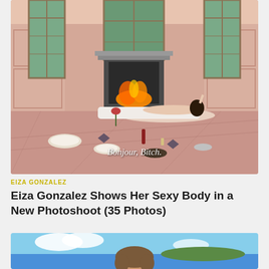[Figure (photo): Interior room photo showing a person lying on a low couch/mattress in front of an ornate fireplace with a lit fire, large French windows on either side, marble floor with food and dishes arranged around. Text overlay reads 'Bonjour, Bitch.']
Bonjour, Bitch.
EIZA GONZALEZ
Eiza Gonzalez Shows Her Sexy Body in a New Photoshoot (35 Photos)
[Figure (photo): Partial photo of a woman with short brown hair outdoors near a tropical beach or ocean scene with a green island in the background.]